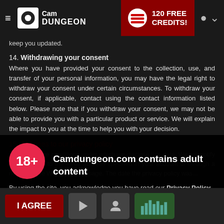CamDUNGEON — 120 FREE CREDITS!
keep you updated.
14. Withdrawing your consent
Where you have provided your consent to the collection, use, and transfer of your personal information, you may have the legal right to withdraw your consent under certain circumstances. To withdraw your consent, if applicable, contact using the contact information listed below. Please note that if you withdraw your consent, we may not be able to provide you with a particular product or service. We will explain the impact to you at the time to help you with your decision.
15. Changes to our privacy policy
Camdungeon.com contains adult content
By using the site, you acknowledge you have read our Privacy Policy, and agree to our Terms and Conditions.
We use cookies to optimize your experience, analyze traffic, and deliver more personalized service. To learn more, please see our Privacy Policy.